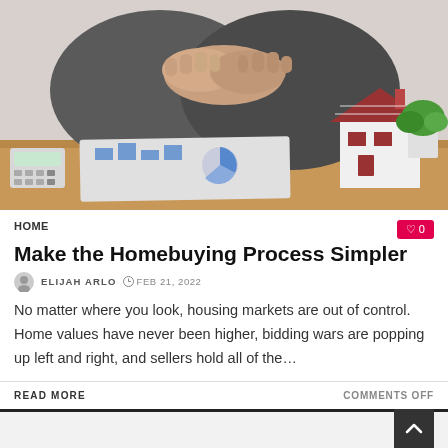[Figure (photo): Photo of two people shaking hands over a desk with a miniature house model, documents with charts, a calculator, and a potted plant in the background.]
HOME
♡ 0
Make the Homebuying Process Simpler
ELIJAH ARLO  ⊙ FEB 21, 2022
No matter where you look, housing markets are out of control. Home values have never been higher, bidding wars are popping up left and right, and sellers hold all of the…
READ MORE
COMMENTS OFF
[Figure (photo): Partial view of another article's header image, showing wooden or financial documents background.]